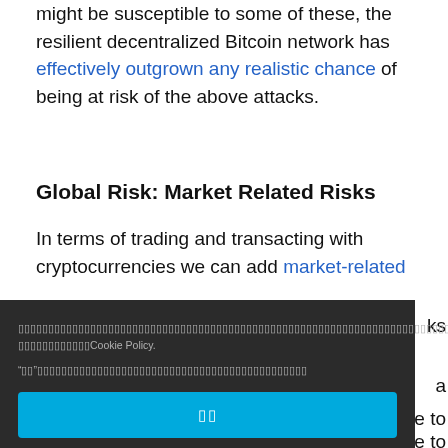might be susceptible to some of these, the resilient decentralized Bitcoin network has effectively outgrown any realistic chance of being at risk of the above attacks.
Global Risk: Market Related Risks
In terms of trading and transacting with cryptocurrencies we can add market-related [risks] ... a ... le to ... e to its unavailability on the market, and
Cookie policy notice overlay with Thai language text and Cookie Policy. button labeled with Thai characters.